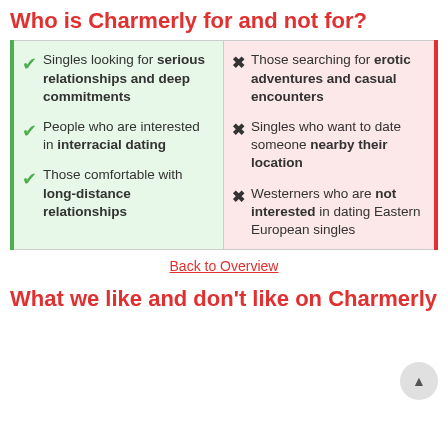Who is Charmerly for and not for?
| For | Not For |
| --- | --- |
| ✔ Singles looking for serious relationships and deep commitments | ✖ Those searching for erotic adventures and casual encounters |
| ✔ People who are interested in interracial dating | ✖ Singles who want to date someone nearby their location |
| ✔ Those comfortable with long-distance relationships | ✖ Westerners who are not interested in dating Eastern European singles |
Back to Overview
What we like and don't like on Charmerly